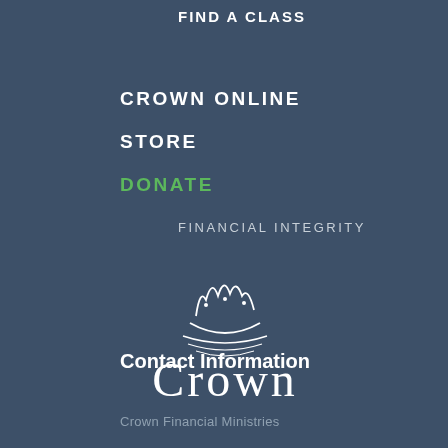FIND A CLASS
CROWN ONLINE
STORE
DONATE
FINANCIAL INTEGRITY
[Figure (logo): Crown Financial Ministries logo — white crown illustration above the word CROWN in large serif type]
Contact Information
Crown Financial Ministries